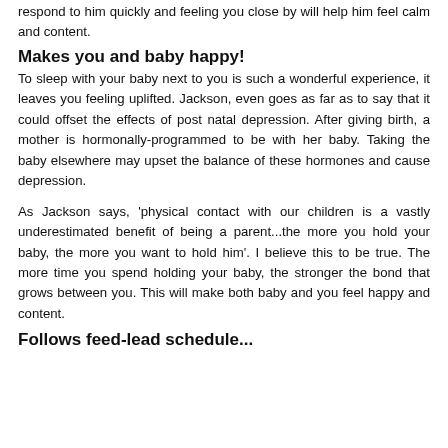respond to him quickly and feeling you close by will help him feel calm and content.
Makes you and baby happy!
To sleep with your baby next to you is such a wonderful experience, it leaves you feeling uplifted. Jackson, even goes as far as to say that it could offset the effects of post natal depression. After giving birth, a mother is hormonally-programmed to be with her baby. Taking the baby elsewhere may upset the balance of these hormones and cause depression.
As Jackson says, 'physical contact with our children is a vastly underestimated benefit of being a parent...the more you hold your baby, the more you want to hold him'. I believe this to be true. The more time you spend holding your baby, the stronger the bond that grows between you. This will make both baby and you feel happy and content.
Follows feed-lead schedule...